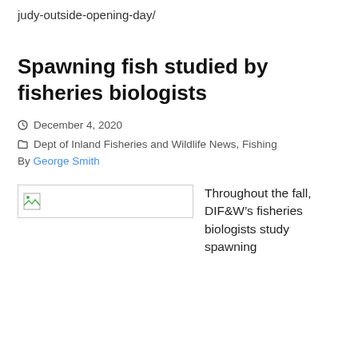judy-outside-opening-day/
Spawning fish studied by fisheries biologists
December 4, 2020   Dept of Inland Fisheries and Wildlife News, Fishing
By George Smith
[Figure (photo): Broken image placeholder (image failed to load)]
Throughout the fall, DIF&W’s fisheries biologists study spawning